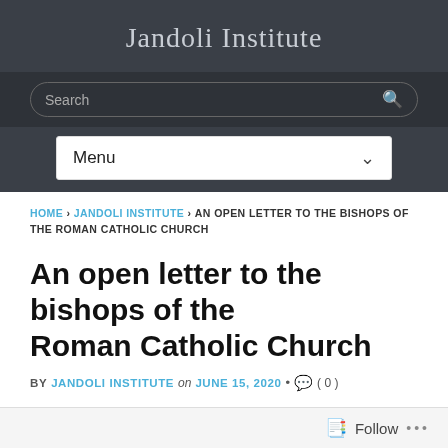Jandoli Institute
Search
Menu
HOME › JANDOLI INSTITUTE › AN OPEN LETTER TO THE BISHOPS OF THE ROMAN CATHOLIC CHURCH
An open letter to the bishops of the Roman Catholic Church
BY JANDOLI INSTITUTE on JUNE 15, 2020 • ( 0 )
Follow